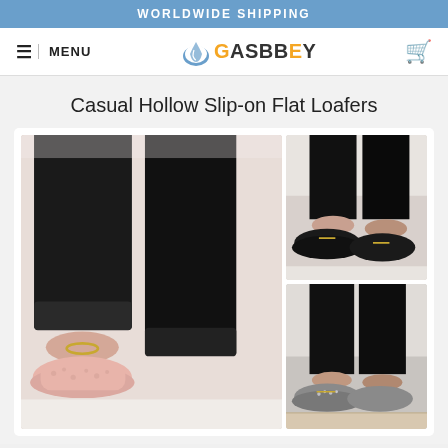WORLDWIDE SHIPPING
[Figure (logo): ASBBEY logo with water droplet icon]
Casual Hollow Slip-on Flat Loafers
[Figure (photo): Product photos showing casual hollow slip-on flat loafers in pink/nude color (left large panel), black with gold zipper detail (top right), and grey with rhinestone detail (bottom right)]